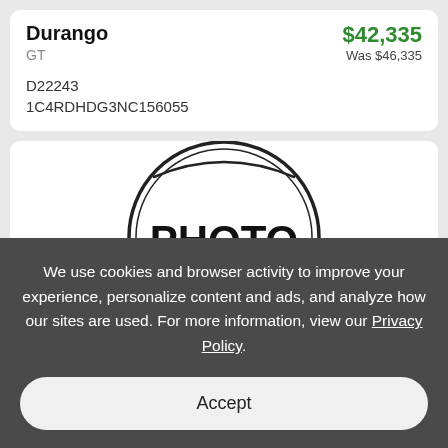Durango GT $42,335 Was $46,335
D22243
1C4RDHDG3NC156055
[Figure (photo): Photo placeholder circle with 'PHOTO' text in bold]
We use cookies and browser activity to improve your experience, personalize content and ads, and analyze how our sites are used. For more information, view our Privacy Policy.
Accept